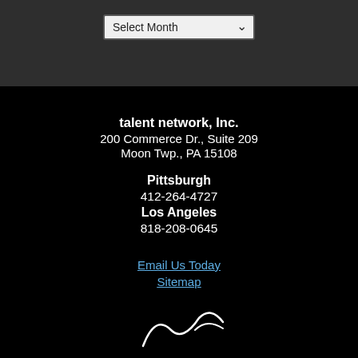[Figure (screenshot): A dropdown/select UI element labeled 'Select Month' with a downward chevron arrow, displayed on a dark gray background]
talent network, Inc.
200 Commerce Dr., Suite 209
Moon Twp., PA 15108
Pittsburgh
412-264-4727
Los Angeles
818-208-0645
Email Us Today
Sitemap
[Figure (logo): Partial white cursive/script logo visible at the bottom of the black section]